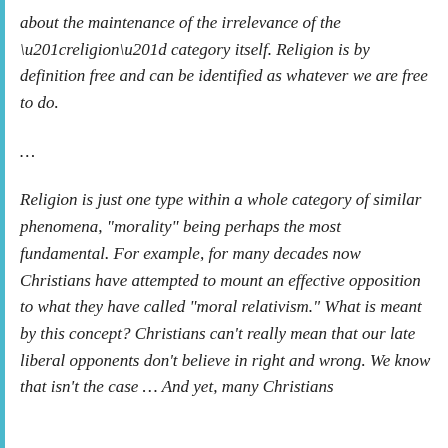about the maintenance of the irrelevance of the “religion” category itself. Religion is by definition free and can be identified as whatever we are free to do.
…
Religion is just one type within a whole category of similar phenomena, “morality” being perhaps the most fundamental. For example, for many decades now Christians have attempted to mount an effective opposition to what they have called “moral relativism.” What is meant by this concept? Christians can’t really mean that our late liberal opponents don’t believe in right and wrong. We know that isn’t the case … And yet, many Christians